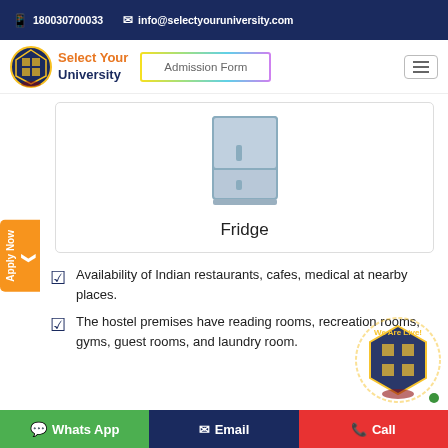180030700033  info@selectyouruniversity.com
[Figure (logo): Select Your University logo with shield emblem and orange/dark blue text]
Admission Form
[Figure (illustration): Fridge illustration - light blue-grey rectangle representing a fridge]
Fridge
Availability of Indian restaurants, cafes, medical at nearby places.
The hostel premises have reading rooms, recreation rooms, gyms, guest rooms, and laundry room.
[Figure (logo): We Are Live! watermark logo with university shield]
Whats App  Email  Call